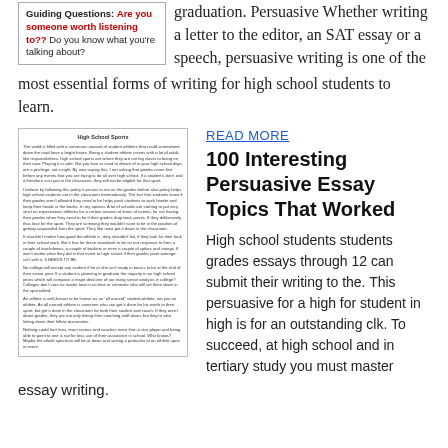[Figure (other): Box with 'Guiding Questions: Are you someone worth listening to?? Do you know what you're talking about?']
graduation. Persuasive Whether writing a letter to the editor, an SAT essay or a speech, persuasive writing is one of the most essential forms of writing for high school students to learn.
[Figure (other): Mini document image titled 'High School Sports' with several paragraphs of small text about high school sports and student athletes.]
READ MORE
100 Interesting Persuasive Essay Topics That Worked
High school students students grades essays through 12 can submit their writing to the. This persuasive for a high for student in high is for an outstanding clk. To succeed, at high school and in tertiary study you must master essay writing.